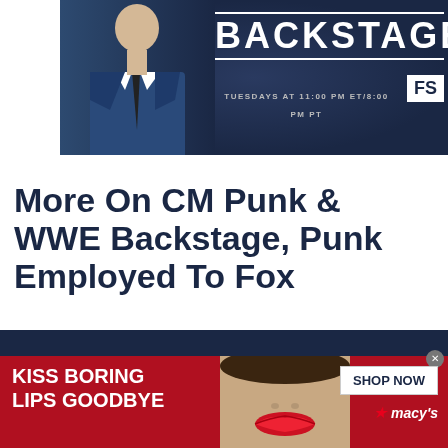[Figure (screenshot): WWE Backstage promotional banner showing a man in blue suit with 'BACKSTAGE' text and 'TUESDAYS AT 11:00 PM ET/8:00 PM PT' with FS1 logo on dark navy background]
More On CM Punk & WWE Backstage, Punk Employed To Fox
[Figure (screenshot): Macy's advertisement with red background showing 'KISS BORING LIPS GOODBYE' text on left, woman with red lips in center, and 'SHOP NOW' button with Macy's star logo on right]